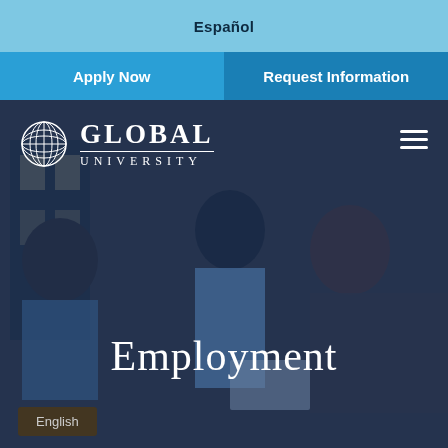Español
Apply Now | Request Information
[Figure (photo): University website screenshot showing a hero image of students meeting outdoors with a blue overlay, Global University logo with globe icon, hamburger menu, and Employment page title]
Employment
English